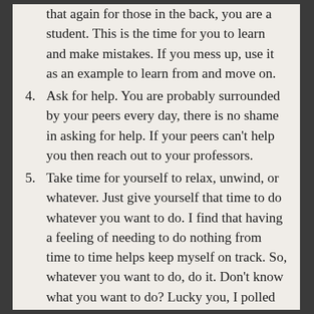that again for those in the back, you are a student.  This is the time for you to learn and make mistakes.  If you mess up, use it as an example to learn from and move on.
4. Ask for help. You are probably surrounded by your peers every day, there is no shame in asking for help.  If your peers can't help you then reach out to your professors.
5. Take time for yourself to relax, unwind, or whatever. Just give yourself that time to do whatever you want to do.  I find that having a feeling of needing to do nothing from time to time helps keep myself on track.  So, whatever you want to do, do it.  Don't know what you want to do?  Lucky you, I polled some of the other grad students for their preferred ways to relax: play a video game, maybe something mindless and violent like